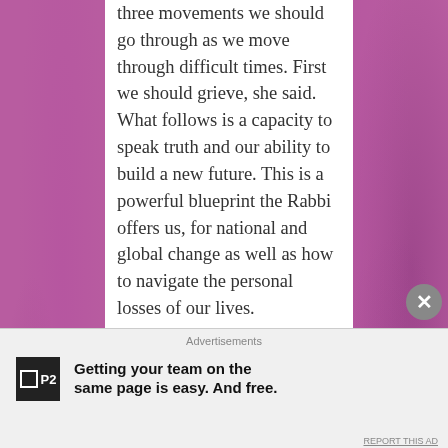three movements we should go through as we move through difficult times. First we should grieve, she said. What follows is a capacity to speak truth and our ability to build a new future. This is a powerful blueprint the Rabbi offers us, for national and global change as well as how to navigate the personal losses of our lives.
You ask if there are some ways of grieving that are better or healthier than others – to which
[Figure (other): Purple textured background decorative element on left and right sides of page]
Advertisements
Getting your team on the same page is easy. And free.